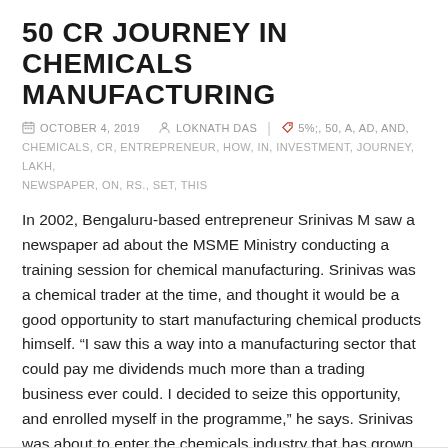50 CR JOURNEY IN CHEMICALS MANUFACTURING
OCTOBER 4, 2019   LOKNATH DAS   5%;, 50, A, AD, AND, CHEMICALS, CR, ENTREPRENEUR, HOW, IN, INVESTMENT, JOURNEY, LAKH, NEWSPAPER, ON, RS., SET, THIS
In 2002, Bengaluru-based entrepreneur Srinivas M saw a newspaper ad about the MSME Ministry conducting a training session for chemical manufacturing. Srinivas was a chemical trader at the time, and thought it would be a good opportunity to start manufacturing chemical products himself. “I saw this a way into a manufacturing sector that could pay me dividends much more than a trading business ever could. I decided to seize this opportunity, and enrolled myself in the programme,” he says. Srinivas was about to enter the chemicals industry that has grown over the years, touching $163…
READ MORE